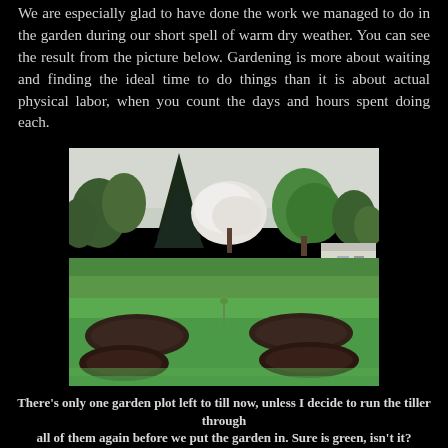We are especially glad to have done the work we managed to do in the garden during our short spell of warm dry weather. You can see the result from the picture below. Gardening is more about waiting and finding the ideal time to do things than it is about actual physical labor, when you count the days and hours spent doing each.
[Figure (photo): A garden photograph showing green lawn with several tilled garden plots in the foreground, flowering and green trees in the background, and a white building visible to the right under an overcast sky.]
There's only one garden plot left to till now, unless I decide to run the tiller through all of them again before we put the garden in. Sure is green, isn't it?
We can't safely plant summer crops outdoors in this part of France until May 15, because of the risk of frost or even a